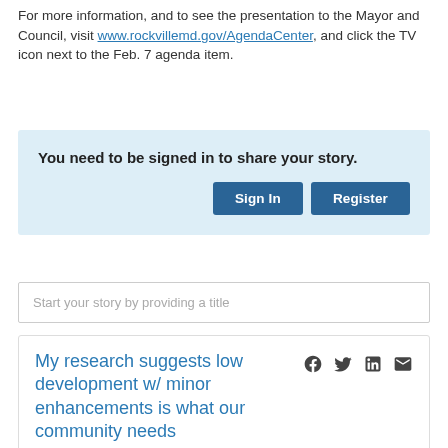For more information, and to see the presentation to the Mayor and Council, visit www.rockvillemd.gov/AgendaCenter, and click the TV icon next to the Feb. 7 agenda item.
You need to be signed in to share your story. [Sign In] [Register]
Start your story by providing a title
My research suggests low development w/ minor enhancements is what our community needs
by mmfgs, about 2 months ago